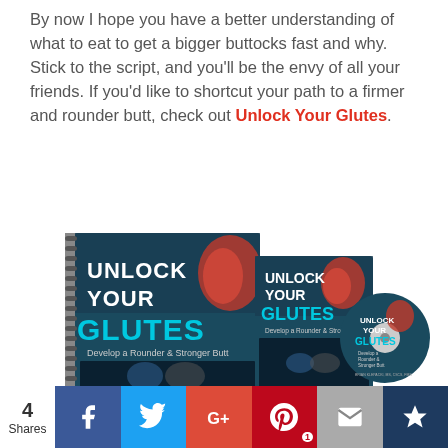By now I hope you have a better understanding of what to eat to get a bigger buttocks fast and why. Stick to the script, and you'll be the envy of all your friends. If you'd like to shortcut your path to a firmer and rounder butt, check out Unlock Your Glutes.
[Figure (photo): Product image showing the 'Unlock Your Glutes' book (spiral-bound), DVD case, and CD disc. Each shows the title 'UNLOCK YOUR GLUTES' with subtitle 'Develop a Rounder & Stronger Butt' and an image of a man and woman doing exercises.]